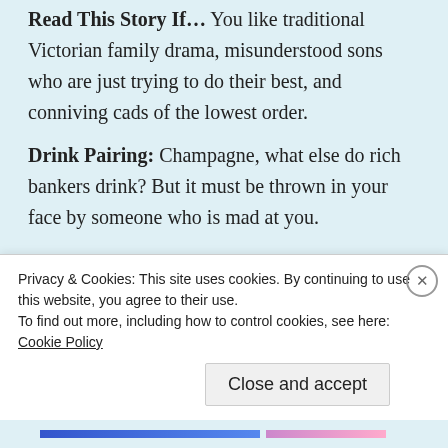Read This Story If… You like traditional Victorian family drama, misunderstood sons who are just trying to do their best, and conniving cads of the lowest order.
Drink Pairing: Champagne, what else do rich bankers drink? But it must be thrown in your face by someone who is mad at you.
20. A Case of Identity
First published 1891. Collected in Adventures of
Privacy & Cookies: This site uses cookies. By continuing to use this website, you agree to their use.
To find out more, including how to control cookies, see here: Cookie Policy
Close and accept